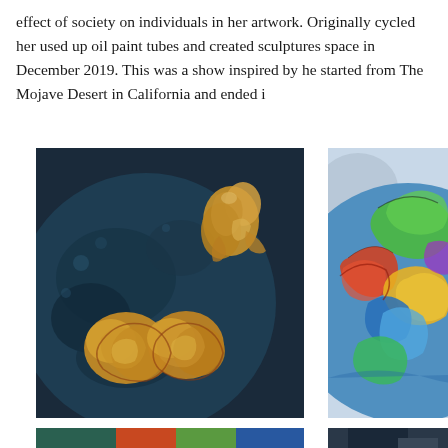effect of society on individuals in her artwork. Originally cycled her used up oil paint tubes and created sculptures space in December 2019. This was a show inspired by he started from The Mojave Desert in California and ended i
[Figure (photo): Dark blue globe painting with golden-orange sculptural organic figures — human-like forms and brain/coral-like masses — overlaid on a dark teal world map sphere background]
[Figure (photo): Colorful globe painting with vibrant green, red, yellow, blue, and orange abstract flowing shapes forming a face or figure on a light blue globe background]
[Figure (photo): Partial view of another artwork at the bottom left — colorful with blue, orange, green tones]
[Figure (photo): Partial view of another artwork at the bottom right — dark tones]